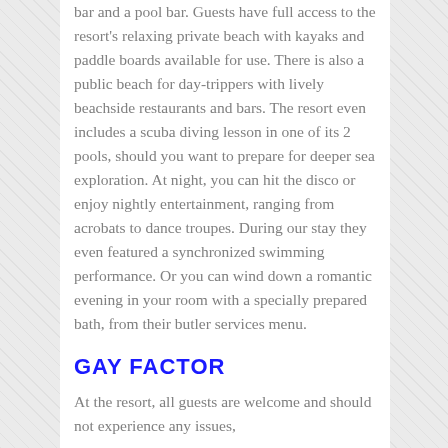bar and a pool bar. Guests have full access to the resort's relaxing private beach with kayaks and paddle boards available for use. There is also a public beach for day-trippers with lively beachside restaurants and bars. The resort even includes a scuba diving lesson in one of its 2 pools, should you want to prepare for deeper sea exploration. At night, you can hit the disco or enjoy nightly entertainment, ranging from acrobats to dance troupes. During our stay they even featured a synchronized swimming performance. Or you can wind down a romantic evening in your room with a specially prepared bath, from their butler services menu.
GAY FACTOR
At the resort, all guests are welcome and should not experience any issues,